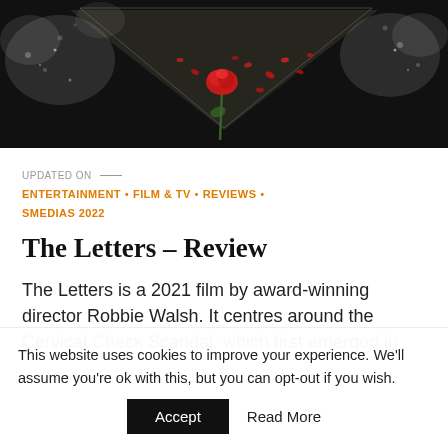[Figure (photo): Dark artistic photograph showing a red rose against a dark triangular background with scattered red petals and grey/white texture elements]
UPDATED ON —
ENTERTAINMENT • FILM & TV • REVIEWS • SMEDIAS 2022
The Letters – Review
The Letters is a 2021 film by award-winning director Robbie Walsh. It centres around the Cervical Check Scandal, which first emerged in 2018...
This website uses cookies to improve your experience. We'll assume you're ok with this, but you can opt-out if you wish.